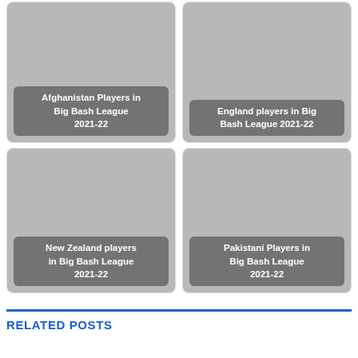[Figure (photo): Card with grey image placeholder and label 'Afghanistan Players in Big Bash League 2021-22']
[Figure (photo): Card with grey image placeholder and label 'England players in Big Bash League 2021-22']
[Figure (photo): Card with grey image placeholder and label 'New Zealand players in Big Bash League 2021-22']
[Figure (photo): Card with grey image placeholder and label 'Pakistani Players in Big Bash League 2021-22']
RELATED POSTS